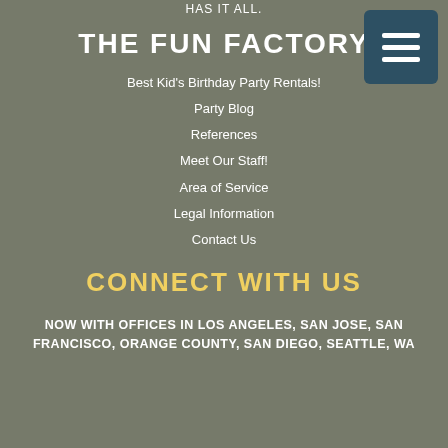HAS IT ALL.
THE FUN FACTORY
Best Kid's Birthday Party Rentals!
Party Blog
References
Meet Our Staff!
Area of Service
Legal Information
Contact Us
CONNECT WITH US
NOW WITH OFFICES IN LOS ANGELES, SAN JOSE, SAN FRANCISCO, ORANGE COUNTY, SAN DIEGO, SEATTLE, WA